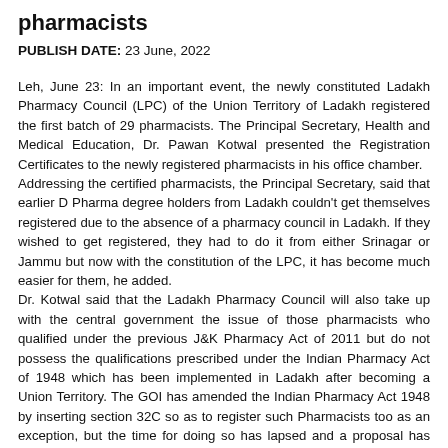pharmacists
PUBLISH DATE: 23 June, 2022
Leh, June 23: In an important event, the newly constituted Ladakh Pharmacy Council (LPC) of the Union Territory of Ladakh registered the first batch of 29 pharmacists. The Principal Secretary, Health and Medical Education, Dr. Pawan Kotwal presented the Registration Certificates to the newly registered pharmacists in his office chamber.
Addressing the certified pharmacists, the Principal Secretary, said that earlier D Pharma degree holders from Ladakh couldn't get themselves registered due to the absence of a pharmacy council in Ladakh. If they wished to get registered, they had to do it from either Srinagar or Jammu but now with the constitution of the LPC, it has become much easier for them, he added.
Dr. Kotwal said that the Ladakh Pharmacy Council will also take up with the central government the issue of those pharmacists who qualified under the previous J&K Pharmacy Act of 2011 but do not possess the qualifications prescribed under the Indian Pharmacy Act of 1948 which has been implemented in Ladakh after becoming a Union Territory. The GOI has amended the Indian Pharmacy Act 1948 by inserting section 32C so as to register such Pharmacists too as an exception, but the time for doing so has lapsed and a proposal has been sent to GOI for an extension of date for registration of such Pharmacists under Section 32C. These Pharmacists too shall be registered under section 32C of the Indian Pharmacy Act 1948